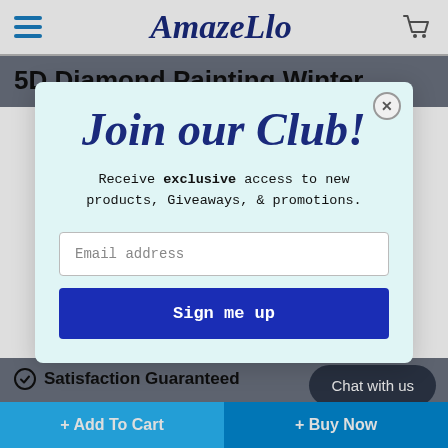AmazeLlo
5D Diamond Painting Winter
Join our Club!
Receive exclusive access to new products, Giveaways, & promotions.
Email address
Sign me up
Satisfaction Guaranteed
Chat with us
+ Add To Cart
+ Buy Now